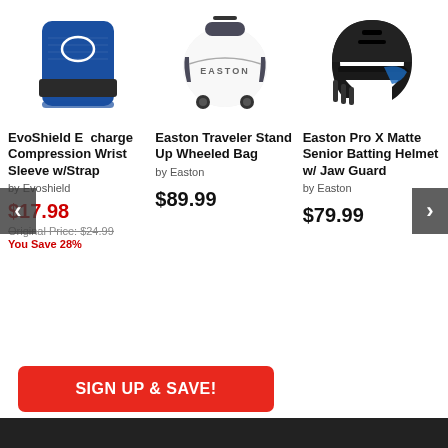[Figure (photo): EvoShield Evcharge Compression Wrist Sleeve with Strap - blue and black wrist wrap product photo]
[Figure (photo): Easton Traveler Stand Up Wheeled Bag - white and grey wheeled baseball bag product photo]
[Figure (photo): Easton Pro X Matte Senior Batting Helmet with Jaw Guard - black helmet product photo]
EvoShield Evcharge Compression Wrist Sleeve w/Strap
by Evoshield
$17.98
Original Price: $24.99
You Save 28%
Easton Traveler Stand Up Wheeled Bag
by Easton
$89.99
Easton Pro X Matte Senior Batting Helmet w/ Jaw Guard
by Easton
$79.99
SIGN UP & SAVE!